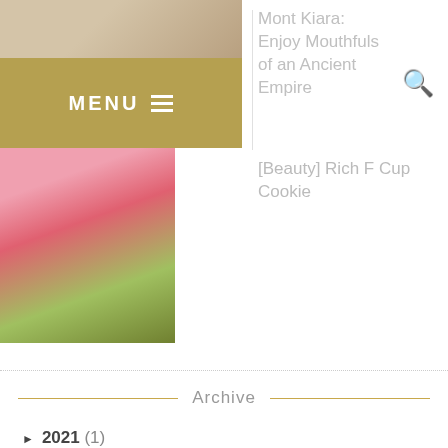[Figure (screenshot): Thumbnail image of food, partially visible at top left]
MENU
Mont Kiara: Enjoy Mouthfuls of an Ancient Empire
[Figure (screenshot): Thumbnail image of pink beauty product packaging]
[Beauty] Rich F Cup Cookie
Archive
► 2021 (1)
► 2019 (6)
► 2018 (43)
▼ 2017 (88)
► December (7)
▼ November (5)
White Sand Cafe @ Empire Damansara: A Cosy